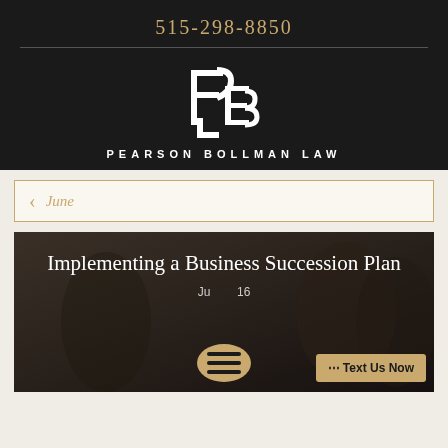515-298-8850
[Figure (logo): Pearson Bollman Law logo: stylized PB monogram in white on dark background]
PEARSON BOLLMAN LAW
June
[Figure (photo): Dark background photo of business people with overlaid article title: Implementing a Business Succession Plan, dated June 2016]
Implementing a Business Succession Plan
... Text Us Now